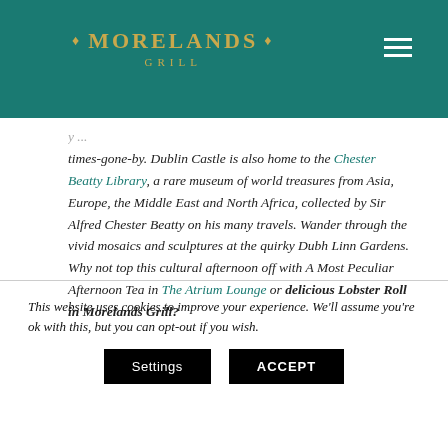MORELANDS GRILL
times-gone-by. Dublin Castle is also home to the Chester Beatty Library, a rare museum of world treasures from Asia, Europe, the Middle East and North Africa, collected by Sir Alfred Chester Beatty on his many travels. Wander through the vivid mosaics and sculptures at the quirky Dubh Linn Gardens. Why not top this cultural afternoon off with A Most Peculiar Afternoon Tea in The Atrium Lounge or delicious Lobster Roll in Morelands Grill?
This website uses cookies to improve your experience. We'll assume you're ok with this, but you can opt-out if you wish.